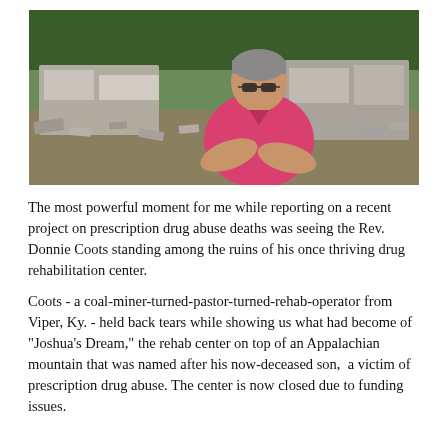[Figure (photo): A middle-aged man with gray hair and sunglasses, wearing a pink polo shirt with arms crossed, standing in front of rubble and debris from a demolished building, with trees and overgrown grass in the background.]
The most powerful moment for me while reporting on a recent project on prescription drug abuse deaths was seeing the Rev. Donnie Coots standing among the ruins of his once thriving drug rehabilitation center.
Coots - a coal-miner-turned-pastor-turned-rehab-operator from Viper, Ky. - held back tears while showing us what had become of "Joshua's Dream," the rehab center on top of an Appalachian mountain that was named after his now-deceased son, a victim of prescription drug abuse. The center is now closed due to funding issues.